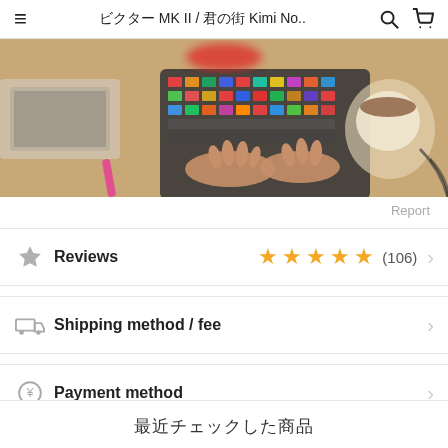ビクター MK II / 君の街 Kimi No..
[Figure (photo): Overhead photo of hands playing a colorful electronic instrument/keyboard on a wooden desk with a coffee mug and laptop visible]
Report
Reviews ★★★★★ (106)
Shipping method / fee
Payment method
最近チェックした商品